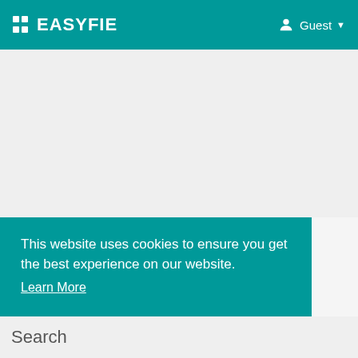EASYFIE  Guest
[Figure (screenshot): Light gray main content area below the navigation bar]
This website uses cookies to ensure you get the best experience on our website.
Learn More
Got it!
Search